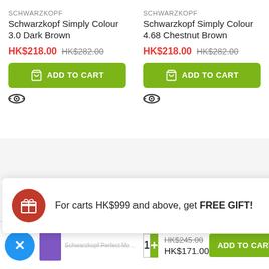SCHWARZKOPF
Schwarzkopf Simply Colour 3.0 Dark Brown
HK$218.00  HK$282.00
ADD TO CART
SCHWARZKOPF
Schwarzkopf Simply Colour 4.68 Chestnut Brown
HK$218.00  HK$282.00
ADD TO CART
For carts HK$999 and above, get FREE GIFT!
Schwarzkopf Perfect Mousse 5.0 Medium Brown
HK$245.00  HK$171.00
ADD TO CART